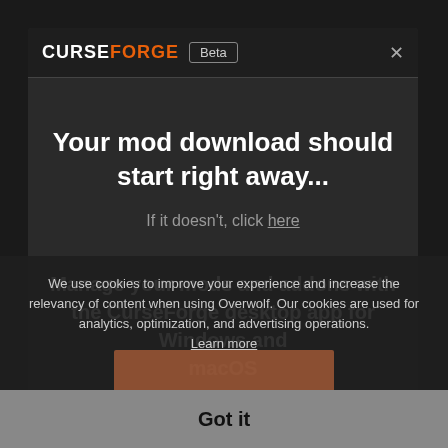[Figure (screenshot): CurseForge Beta app header bar with logo and Beta badge]
Your mod download should start right away...
If it doesn't, click here
Manage your mods and addons with the CurseForge desktop app for Windows and macOS
We use cookies to improve your experience and increase the relevancy of content when using Overwolf. Our cookies are used for analytics, optimization, and advertising operations. Learn more
Got it